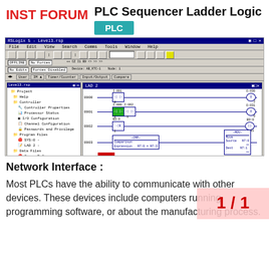INST FORUM
PLC Sequencer Ladder Logic
PLC
[Figure (screenshot): RSLogix 5 PLC ladder logic programming software screenshot showing a project tree on the left with Controller, Program Files, and Data Files, and a LAD 2 ladder diagram on the right with rungs 0000-0003 containing contacts, coils, CMP Comparison, and MOV Move instruction blocks.]
Network Interface :
Most PLCs have the ability to communicate with other devices. These devices include computers running programming software, or about the manufacturing process.